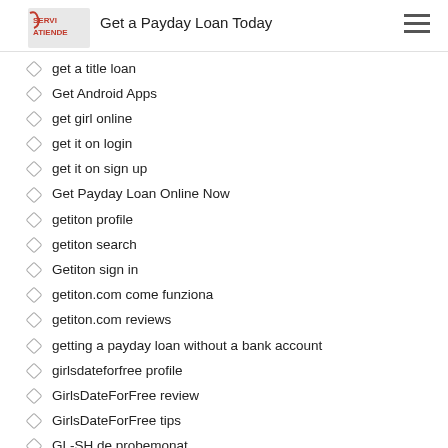Get a Payday Loan Today
get a title loan
Get Android Apps
get girl online
get it on login
get it on sign up
Get Payday Loan Online Now
getiton profile
getiton search
Getiton sign in
getiton.com come funziona
getiton.com reviews
getting a payday loan without a bank account
girlsdateforfree profile
GirlsDateForFree review
GirlsDateForFree tips
GL-SH.de probemonat